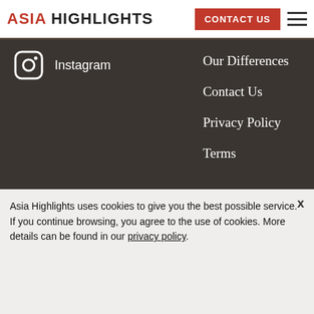ASIA HIGHLIGHTS | CONTACT US
[Figure (logo): Instagram icon with Instagram text link in white on dark background]
Our Differences
Contact Us
Privacy Policy
Terms
FEATURED ON
[Figure (logo): CNN Travel logo in white on dark background]
[Figure (logo): BBC Travel logo in white on dark background]
[Figure (logo): USA TODAY logo in white on dark background]
Asia Highlights uses cookies to give you the best possible service. If you continue browsing, you agree to the use of cookies. More details can be found in our privacy policy.